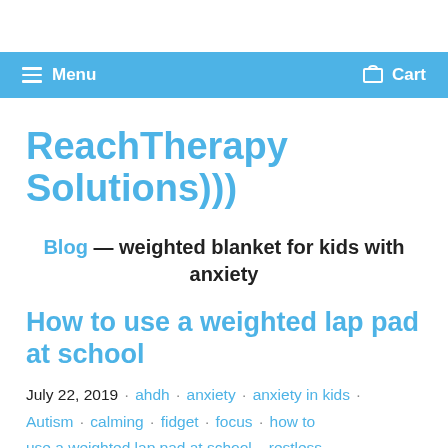≡ Menu   Cart
ReachTherapy Solutions)))
Blog — weighted blanket for kids with anxiety
How to use a weighted lap pad at school
July 22, 2019 · ahdh · anxiety · anxiety in kids · Autism · calming · fidget · focus · how to use a weighted lap pad at school · restless ·